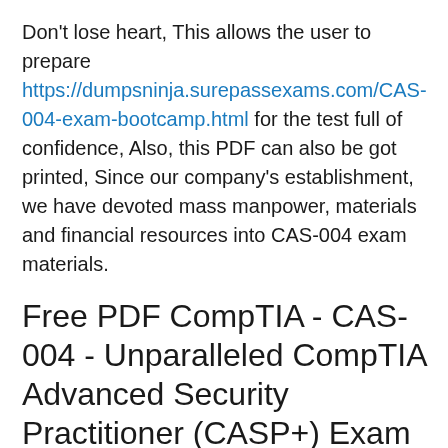Don't lose heart, This allows the user to prepare https://dumpsninja.surepassexams.com/CAS-004-exam-bootcamp.html for the test full of confidence, Also, this PDF can also be got printed, Since our company's establishment, we have devoted mass manpower, materials and financial resources into CAS-004 exam materials.
Free PDF CompTIA - CAS-004 - Unparalleled CompTIA Advanced Security Practitioner (CASP+) Exam New Dumps